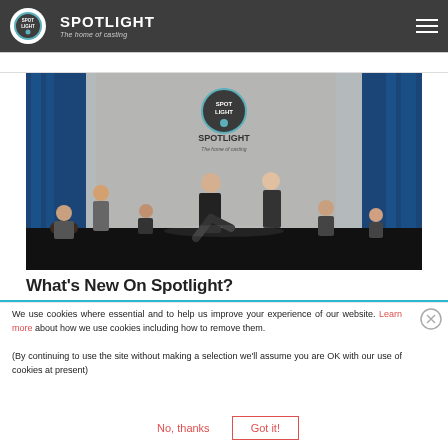SPOTLIGHT — The home of casting
[Figure (photo): Performers on a stage during a Spotlight casting event, with blue curtains and a Spotlight logo projection in the background. Multiple actors in dark clothing are performing various poses on a dark stage.]
What's New On Spotlight?
We use cookies where essential and to help us improve your experience of our website. Learn more about how we use cookies including how to remove them.

(By continuing to use the site without making a selection we'll assume you are OK with our use of cookies at present)
No, thanks
Got it!